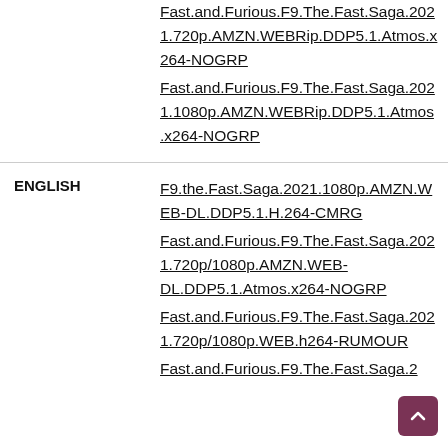|  |  |
| --- | --- |
|  | Fast.and.Furious.F9.The.Fast.Saga.2021.720p.AMZN.WEBRip.DDP5.1.Atmos.x264-NOGRP
Fast.and.Furious.F9.The.Fast.Saga.2021.1080p.AMZN.WEBRip.DDP5.1.Atmos.x264-NOGRP |
| ENGLISH | F9.the.Fast.Saga.2021.1080p.AMZN.WEB-DL.DDP5.1.H.264-CMRG
Fast.and.Furious.F9.The.Fast.Saga.2021.720p/1080p.AMZN.WEB-DL.DDP5.1.Atmos.x264-NOGRP
Fast.and.Furious.F9.The.Fast.Saga.2021.720p/1080p.WEB.h264-RUMOUR
Fast.and.Furious.F9.The.Fast.Saga.2... |